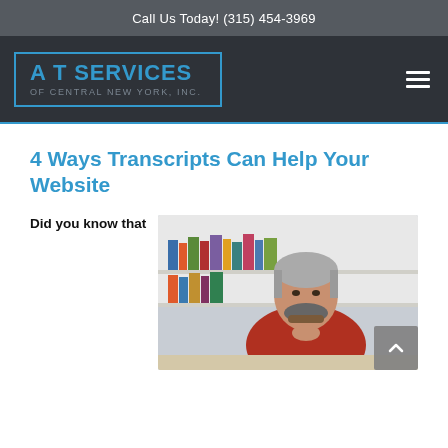Call Us Today! (315) 454-3969
[Figure (logo): A T Services of Central New York, Inc. logo in a blue-bordered box on dark navy background, with hamburger menu icon on right]
4 Ways Transcripts Can Help Your Website
Did you know that
[Figure (photo): A bearded middle-aged man with grey hair in a red shirt, sitting at a desk thinking, with bookshelves in the background]